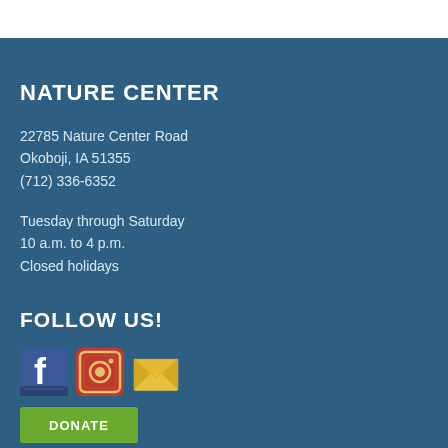NATURE CENTER
22785 Nature Center Road
Okoboji, IA 51355
(712) 336-6352
Tuesday through Saturday
10 a.m. to 4 p.m.
Closed holidays
FOLLOW US!
[Figure (illustration): Social media icons: Facebook, Instagram, and email/newsletter icons]
[Figure (illustration): Green DONATE button]